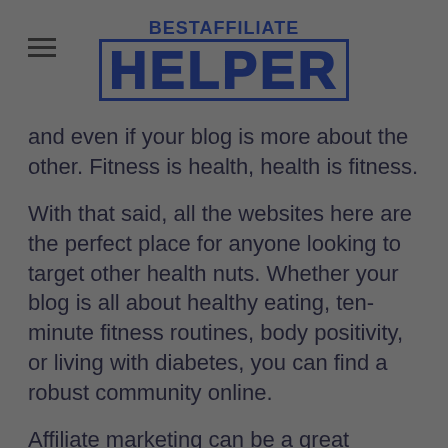BESTAFFILIATE HELPER
and even if your blog is more about the other. Fitness is health, health is fitness.
With that said, all the websites here are the perfect place for anyone looking to target other health nuts. Whether your blog is all about healthy eating, ten-minute fitness routines, body positivity, or living with diabetes, you can find a robust community online.
Affiliate marketing can be a great source of revenue from your blog, especially once you build up your traffic. Take a look at these health and wellness affiliate programs to consider implementing on